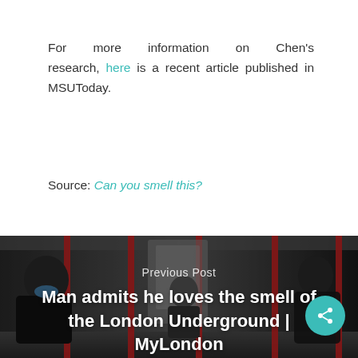For more information on Chen's research, here is a recent article published in MSUToday.
Source: Can you smell this?
[Figure (photo): Photo of passengers inside London Underground train car wearing face masks, with red poles and arched car interior visible. Overlaid text reads 'Previous Post' and 'Man admits he loves the smell of the London Underground | MyLondon']